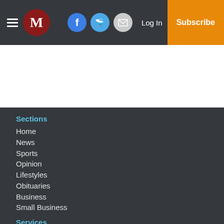M [logo] | Facebook | Twitter | Email | Log In | Subscribe
Sections
Home
News
Sports
Opinion
Lifestyles
Obituaries
Business
Small Business
Services
About Us
Subscriptions
Policies
Submit a News Tip